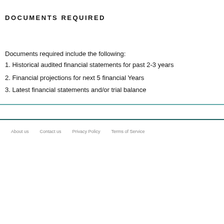DOCUMENTS REQUIRED
Documents required include the following:
1. Historical audited financial statements for past 2-3 years
2. Financial projections for next 5 financial Years
3. Latest financial statements and/or trial balance
About us   Contact us   Privacy Policy   Terms of Service   Terms and Conditions
© 2019 Baywiser, All Rights Reserved.